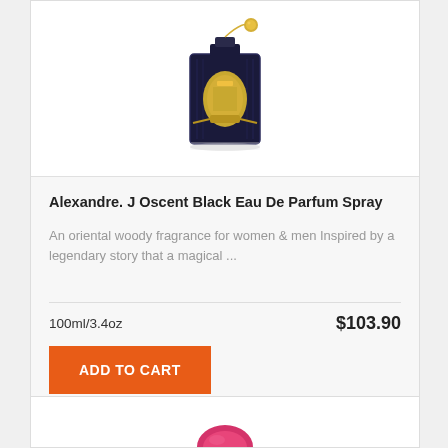[Figure (photo): Alexandre J Oscent Black Eau De Parfum bottle — dark navy rectangular bottle with gold crest emblem and gold chain charm, shown on white background]
Alexandre. J Oscent Black Eau De Parfum Spray
An oriental woody fragrance for women & men Inspired by a legendary story that a magical ...
100ml/3.4oz
$103.90
ADD TO CART
[Figure (photo): Partial view of a second product — appears to be a pink/magenta round perfume bottle, cropped at bottom of page]